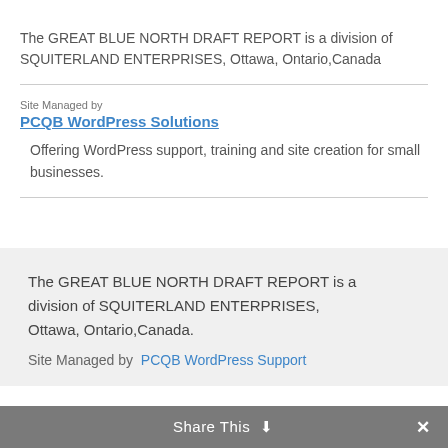The GREAT BLUE NORTH DRAFT REPORT is a division of SQUITERLAND ENTERPRISES, Ottawa, Ontario,Canada
Site Managed by
PCQB WordPress Solutions
Offering WordPress support, training and site creation for small businesses.
The GREAT BLUE NORTH DRAFT REPORT is a division of SQUITERLAND ENTERPRISES, Ottawa, Ontario,Canada.
Site Managed by  PCQB WordPress Support
Share This  ✓  ✕